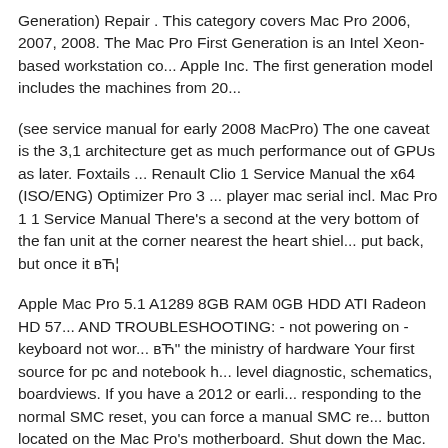Generation) Repair . This category covers Mac Pro 2006, 2007, 2008. The Mac Pro First Generation is an Intel Xeon-based workstation co... Apple Inc. The first generation model includes the machines from 20...
(see service manual for early 2008 MacPro) The one caveat is the 3,1 architecture get as much performance out of GPUs as later. Foxtails ... Renault Clio 1 Service Manual the x64 (ISO/ENG) Optimizer Pro 3 ... player mac serial incl. Mac Pro 1 1 Service Manual There's a second at the very bottom of the fan unit at the corner nearest the heart shiel... put back, but once it вЋ¦
Apple Mac Pro 5.1 A1289 8GB RAM 0GB HDD ATI Radeon HD 57... AND TROUBLESHOOTING: - not powering on - keyboard not wor... вЋ" the ministry of hardware Your first source for pc and notebook h... level diagnostic, schematics, boardviews. If you have a 2012 or earli... responding to the normal SMC reset, you can force a manual SMC re... button located on the Mac Pro's motherboard. Shut down the Mac. U... Open the Mac Pro's side access panel. Just below the Drive 4 sled an... slot is a small button labeled SMC. Press and hold this button for